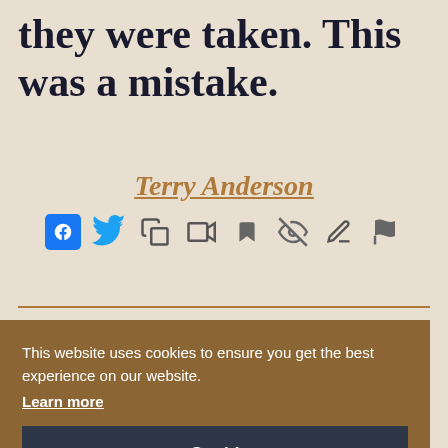they were taken. This was a mistake.
Terry Anderson
[Figure (infographic): Row of social sharing and action icons: Facebook, Twitter, Copy, Video, Bookmark, Hide, Edit/Pen, Flag]
We're trying to get some
This website uses cookies to ensure you get the best experience on our website. Learn more Got it!
eal
ake
n
this and the right thing to